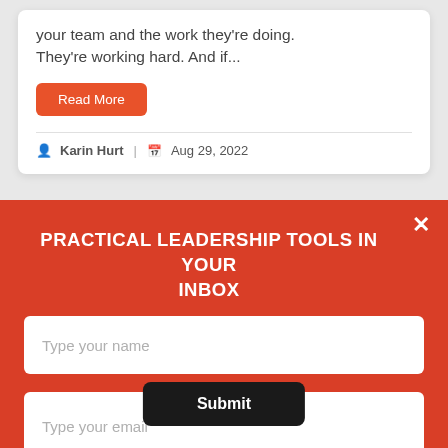your team and the work they're doing. They're working hard. And if...
Read More
Karin Hurt | Aug 29, 2022
PRACTICAL LEADERSHIP TOOLS IN YOUR INBOX
Type your name
Type your email
Submit